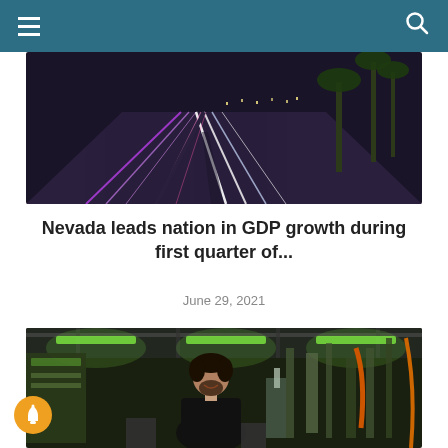Navigation bar with hamburger menu and search icon
[Figure (photo): Night-time long-exposure photo of a multi-lane highway with light trails from cars, palm trees and city lights in background]
Nevada leads nation in GDP growth during first quarter of...
June 29, 2021
[Figure (photo): Photo of a man in a black t-shirt smiling in an industrial/manufacturing facility with green-lit machinery and robotics equipment]